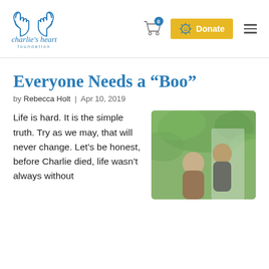[Figure (logo): Charlie's Heart Foundation logo: two hand outlines forming a heart shape, with text 'charlie's heart foundation' below in blue]
[Figure (other): Shopping cart icon with blue badge showing '0']
[Figure (other): Yellow Donate button with sun/smiley icon]
[Figure (other): Hamburger menu icon (three horizontal lines)]
Everyone Needs a “Boo”
by Rebecca Holt | Apr 10, 2019
Life is hard. It is the simple truth. Try as we may, that will never change. Let’s be honest, before Charlie died, life wasn’t always without
[Figure (photo): A couple outdoors in a green, leafy setting, seen from below/side angle]